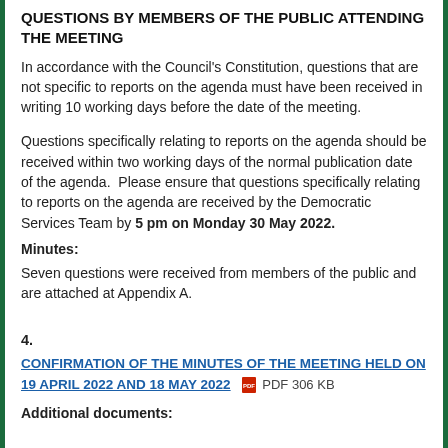QUESTIONS BY MEMBERS OF THE PUBLIC ATTENDING THE MEETING
In accordance with the Council’s Constitution, questions that are not specific to reports on the agenda must have been received in writing 10 working days before the date of the meeting.
Questions specifically relating to reports on the agenda should be received within two working days of the normal publication date of the agenda.  Please ensure that questions specifically relating to reports on the agenda are received by the Democratic Services Team by 5 pm on Monday 30 May 2022.
Minutes:
Seven questions were received from members of the public and are attached at Appendix A.
4.
CONFIRMATION OF THE MINUTES OF THE MEETING HELD ON 19 APRIL 2022 AND 18 MAY 2022   PDF 306 KB
Additional documents: